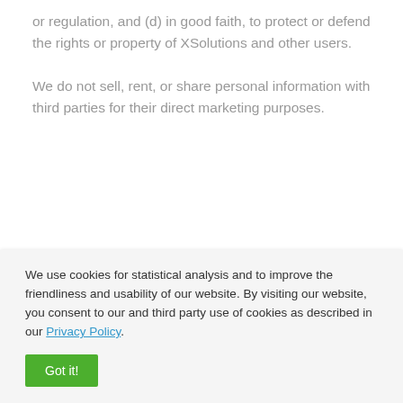or regulation, and (d) in good faith, to protect or defend the rights or property of XSolutions and other users.
We do not sell, rent, or share personal information with third parties for their direct marketing purposes.
International Information Transfers
We use cookies for statistical analysis and to improve the friendliness and usability of our website. By visiting our website, you consent to our and third party use of cookies as described in our Privacy Policy.
Got it!